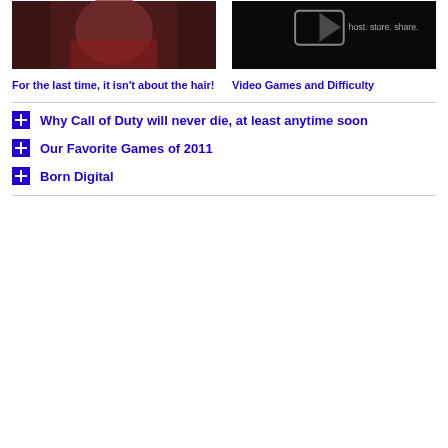[Figure (photo): Dark reddish-toned image of a character, appears to be a video game or film character with red costume]
[Figure (screenshot): Dark screenshot showing a camera/photo icon and the text 'host. store. share.' on a black background]
For the last time, it isn't about the hair!
Video Games and Difficulty
Why Call of Duty will never die, at least anytime soon
Our Favorite Games of 2011
Born Digital